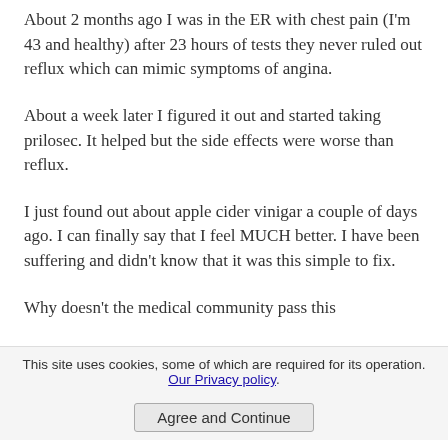About 2 months ago I was in the ER with chest pain (I'm 43 and healthy) after 23 hours of tests they never ruled out reflux which can mimic symptoms of angina.
About a week later I figured it out and started taking prilosec. It helped but the side effects were worse than reflux.
I just found out about apple cider vinigar a couple of days ago. I can finally say that I feel MUCH better. I have been suffering and didn't know that it was this simple to fix.
Why doesn't the medical community pass this
This site uses cookies, some of which are required for its operation. Our Privacy policy.
Agree and Continue